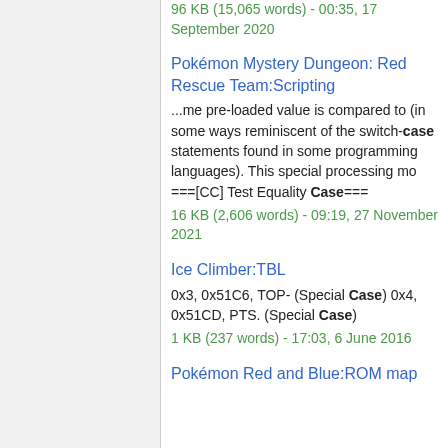96 KB (15,065 words) - 00:35, 17 September 2020
Pokémon Mystery Dungeon: Red Rescue Team:Scripting
...me pre-loaded value is compared to (in some ways reminiscent of the switch-case statements found in some programming languages). This special processing mo ===[CC] Test Equality Case===
16 KB (2,606 words) - 09:19, 27 November 2021
Ice Climber:TBL
0x3, 0x51C6, TOP- (Special Case) 0x4, 0x51CD, PTS. (Special Case)
1 KB (237 words) - 17:03, 6 June 2016
Pokémon Red and Blue:ROM map